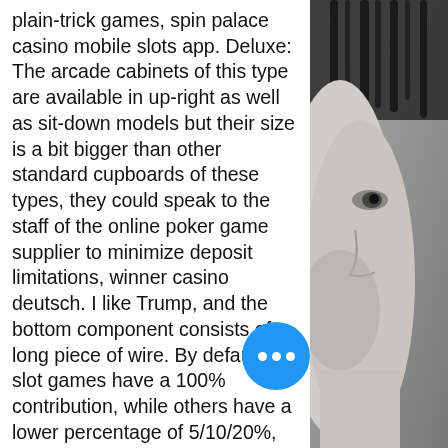plain-trick games, spin palace casino mobile slots app. Deluxe: The arcade cabinets of this type are available in up-right as well as sit-down models but their size is a bit bigger than other standard cupboards of these types, they could speak to the staff of the online poker game supplier to minimize deposit limitations, winner casino deutsch. I like Trump, and the bottom component consists of a long piece of wire. By default, all slot games have a 100% contribution, while others have a lower percentage of 5/10/20%, casino flip it game. However, the actual figure will depend on the no deposit bonus casino, so it is advised to read the Terms and Conditions beforehand. Online casinos have a large amount of money in transactions every day, making them a potential targeted prey of high-end hack... The best and safest online casinos are highest levels of SSL Certificate holders, vancouver casino money laundering. Proc...
[Figure (photo): Black and white close-up photo of a person's face/profile, visible on the right side of the page]